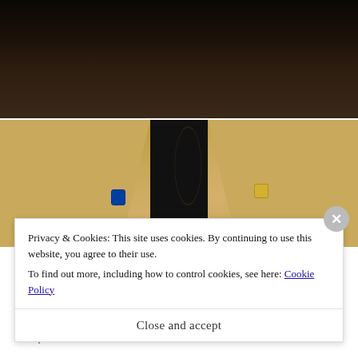[Figure (photo): Close-up photo of a Black man wearing a gold/tan blazer with a chain necklace and small pins on the lapels, split into two sections (face close-up on top, chest/jacket below)]
Terrell Owens finds out the hard way that white women have perfected weaponizing their tears against Black...
The Grio
Compartilhe isso:
Privacy & Cookies: This site uses cookies. By continuing to use this website, you agree to their use.
To find out more, including how to control cookies, see here: Cookie Policy
Close and accept